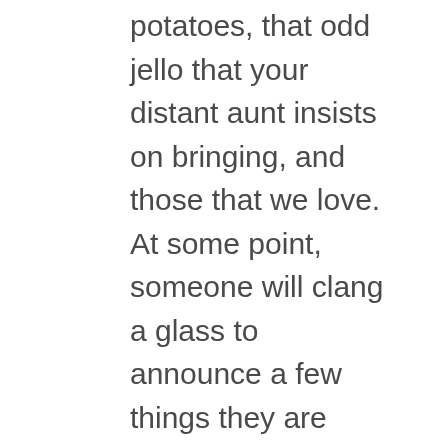potatoes, that odd jello that your distant aunt insists on bringing, and those that we love. At some point, someone will clang a glass to announce a few things they are thankful for. Others will join in, prayers will be said, and then we will converge into a moment of gorging ourselves on the bountiful blessings in front of us.